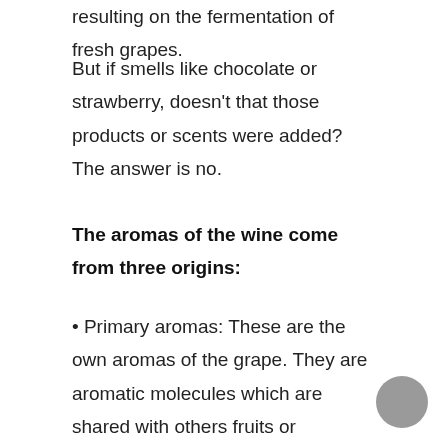resulting on the fermentation of fresh grapes.
But if smells like chocolate or strawberry, doesn't that those products or scents were added? The answer is no.
The aromas of the wine come from three origins:
• Primary aromas: These are the own aromas of the grape. They are aromatic molecules which are shared with others fruits or vegetables. Because of that for example, a Torrontes can remind us to a lemon or a pomelo and a Cabernet Sauvignon to a green pepper.